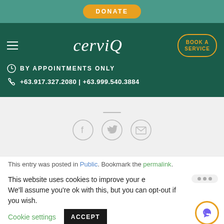[Figure (screenshot): Website header screenshot of cerviQ with donate button, navigation bar with logo and Book a Service button, appointment and phone info, social sharing icons, footer text, and cookie consent bar]
DONATE
cerviQ
BOOK A SERVICE
BY APPOINTMENTS ONLY
+63.917.327.2080 | +63.999.540.3884
This entry was posted in Public. Bookmark the permalink.
This website uses cookies to improve your e We'll assume you're ok with this, but you can opt-out if you wish.
Cookie settings
ACCEPT